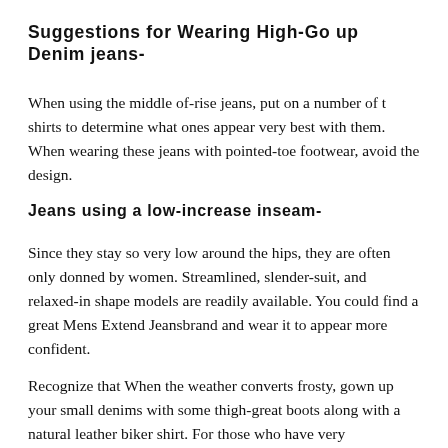Suggestions for Wearing High-Go up Denim jeans-
When using the middle of-rise jeans, put on a number of t shirts to determine what ones appear very best with them. When wearing these jeans with pointed-toe footwear, avoid the design.
Jeans using a low-increase inseam-
Since they stay so very low around the hips, they are often only donned by women. Streamlined, slender-suit, and relaxed-in shape models are readily available. You could find a great Mens Extend Jeansbrand and wear it to appear more confident.
Recognize that When the weather converts frosty, gown up your small denims with some thigh-great boots along with a natural leather biker shirt. For those who have very long legs, it's a good idea to utilize this is one more...